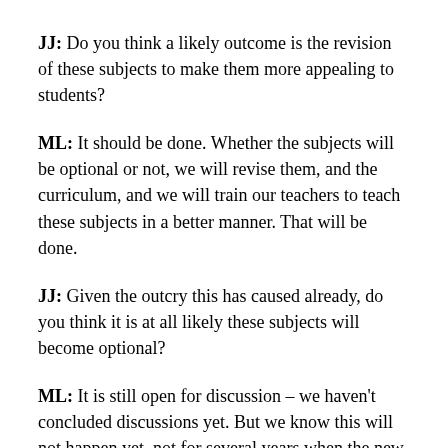JJ: Do you think a likely outcome is the revision of these subjects to make them more appealing to students?
ML: It should be done. Whether the subjects will be optional or not, we will revise them, and the curriculum, and we will train our teachers to teach these subjects in a better manner. That will be done.
JJ: Given the outcry this has caused already, do you think it is at all likely these subjects will become optional?
ML: It is still open for discussion – we haven't concluded discussions yet. But we know this will not happen yet, not for several years when the new curriculum is implemented. I am not actually making these decisions, it is done in consultation